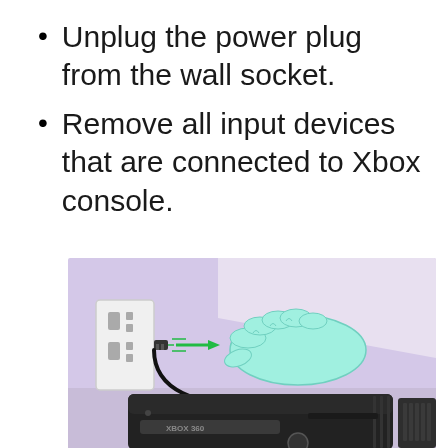Unplug the power plug from the wall socket.
Remove all input devices that are connected to Xbox console.
[Figure (illustration): Illustration of a hand (drawn in cyan/teal style) unplugging a power cord from a white wall socket. A green arrow points away from the socket indicating the unplugging action. Below the hand is an Xbox 360 console (dark gray/black) with 'XBOX 360' label visible on the front.]